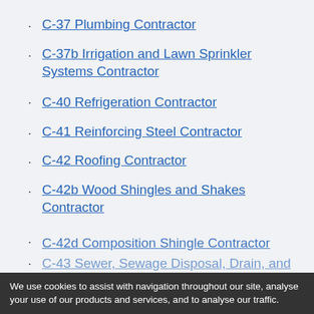C-37 Plumbing Contractor
C-37b Irrigation and Lawn Sprinkler Systems Contractor
C-40 Refrigeration Contractor
C-41 Reinforcing Steel Contractor
C-42 Roofing Contractor
C-42b Wood Shingles and Shakes Contractor
C-42d Composition Shingle Contractor
C-43 Sewer, Sewage Disposal, Drain, and
We use cookies to assist with navigation throughout our site, analyse your use of our products and services, and to analyse our traffic.